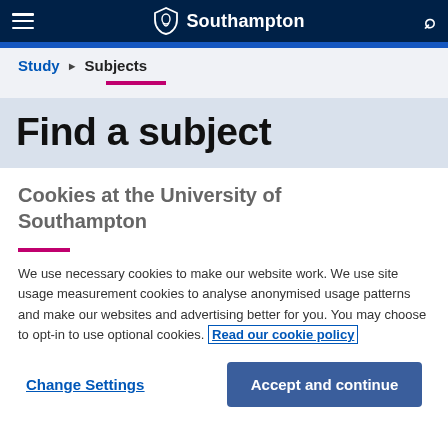University of Southampton
Study ▶ Subjects
Find a subject
Cookies at the University of Southampton
We use necessary cookies to make our website work. We use site usage measurement cookies to analyse anonymised usage patterns and make our websites and advertising better for you. You may choose to opt-in to use optional cookies. Read our cookie policy
Change Settings
Accept and continue